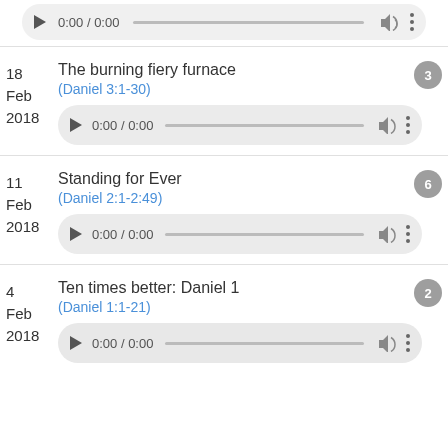[Figure (screenshot): Audio player controls showing 0:00 / 0:00 with progress bar, volume and menu icons]
18 Feb 2018 — The burning fiery furnace (Daniel 3:1-30) — badge: 3
[Figure (screenshot): Audio player controls showing 0:00 / 0:00]
11 Feb 2018 — Standing for Ever (Daniel 2:1-2:49) — badge: 6
[Figure (screenshot): Audio player controls showing 0:00 / 0:00]
4 Feb 2018 — Ten times better: Daniel 1 (Daniel 1:1-21) — badge: 2
[Figure (screenshot): Audio player controls showing 0:00 / 0:00 (partially visible)]